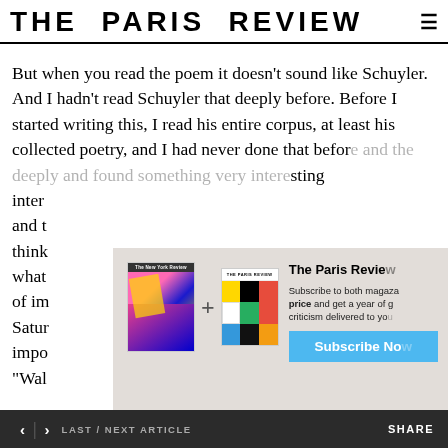THE PARIS REVIEW
But when you read the poem it doesn't sound like Schuyler. And I hadn't read Schuyler that deeply before. Before I started writing this, I read his entire corpus, at least his collected poetry, and I had never done that before. I read him intensely and found something very interesting and thought, what is important of im Saturday impo “Wal
[Figure (illustration): Subscription modal overlay showing two magazine covers (The New York Review and The Paris Review) with a plus sign between them, followed by text 'The Paris Review' and 'Subscribe to both magazines at a special price and get a year of great criticism delivered to your...' with a blue 'Subscribe No' button]
INTERVIEWER
< | > LAST / NEXT ARTICLE   SHARE